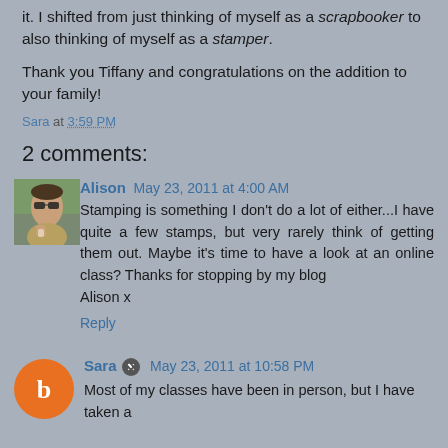it. I shifted from just thinking of myself as a scrapbooker to also thinking of myself as a stamper.
Thank you Tiffany and congratulations on the addition to your family!
Sara at 3:59 PM
2 comments:
Alison May 23, 2011 at 4:00 AM
Stamping is something I don't do a lot of either...I have quite a few stamps, but very rarely think of getting them out. Maybe it's time to have a look at an online class? Thanks for stopping by my blog
Alison x
Reply
Sara May 23, 2011 at 10:58 PM
Most of my classes have been in person, but I have taken a